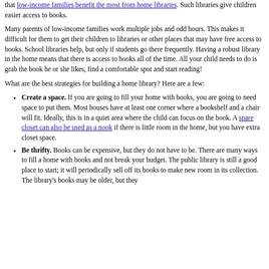that low-income families benefit the most from home libraries. Such libraries give children easier access to books.
Many parents of low-income families work multiple jobs and odd hours. This makes it difficult for them to get their children to libraries or other places that may have free access to books. School libraries help, but only if students go there frequently. Having a robust library in the home means that there is access to books all of the time. All your child needs to do is grab the book he or she likes, find a comfortable spot and start reading!
What are the best strategies for building a home library? Here are a few:
Create a space. If you are going to fill your home with books, you are going to need space to put them. Most houses have at least one corner where a bookshelf and a chair will fit. Ideally, this is in a quiet area where the child can focus on the book. A spare closet can also be used as a nook if there is little room in the home, but you have extra closet space.
Be thrifty. Books can be expensive, but they do not have to be. There are many ways to fill a home with books and not break your budget. The public library is still a good place to start; it will periodically sell off its books to make new room in its collection. The library's books may be older, but they